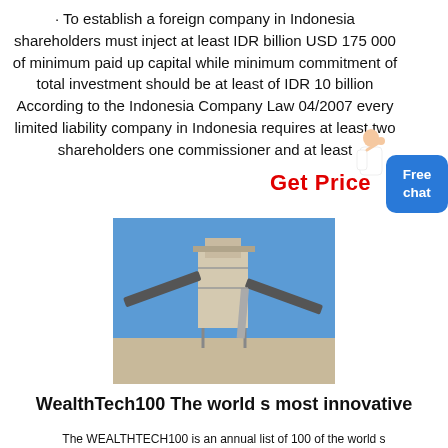· To establish a foreign company in Indonesia shareholders must inject at least IDR billion USD 175 000 of minimum paid up capital while minimum commitment of total investment should be at least of IDR 10 billion According to the Indonesia Company Law 04/2007 every limited liability company in Indonesia requires at least two shareholders one commissioner and at least
Get Price
[Figure (illustration): Person (woman in white jacket) pointing, used as chat assistant icon]
[Figure (illustration): Blue button with text 'Free chat']
[Figure (photo): Industrial mining or quarrying facility with conveyor belts and structural steel towers against a blue sky]
WealthTech100 The world s most innovative
The WEALTHTECH100 is an annual list of 100 of the world s